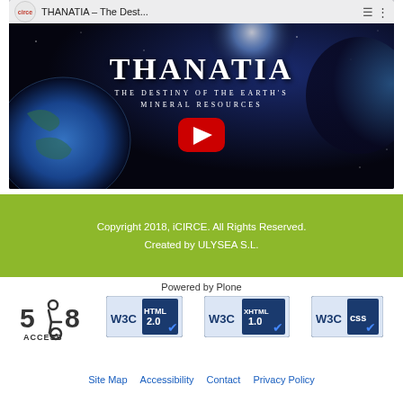[Figure (screenshot): YouTube video thumbnail for THANATIA - The Destiny of the Earth's Mineral Resources, showing Earth from space with the title text overlaid and a YouTube play button in the center]
Copyright 2018, iCIRCE. All Rights Reserved.
Created by ULYSEA S.L.
Powered by Plone
[Figure (logo): 508 ACCESS accessibility badge logo]
[Figure (logo): W3C HTML 2.0 validation badge]
[Figure (logo): W3C XHTML 1.0 validation badge]
[Figure (logo): W3C CSS validation badge]
Site Map   Accessibility   Contact   Privacy Policy